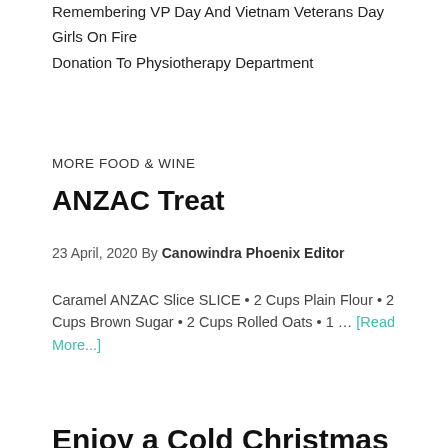Remembering VP Day And Vietnam Veterans Day
Girls On Fire
Donation To Physiotherapy Department
MORE FOOD & WINE
ANZAC Treat
23 April, 2020 By Canowindra Phoenix Editor
Caramel ANZAC Slice SLICE • 2 Cups Plain Flour • 2 Cups Brown Sugar • 2 Cups Rolled Oats • 1 … [Read More...]
Enjoy a Cold Christmas Pudding!
16 December, 2015 By Canowindra Phoenix Editor
Ingredients 2.25 litre vanilla ice cream 2 x 125 punnets of